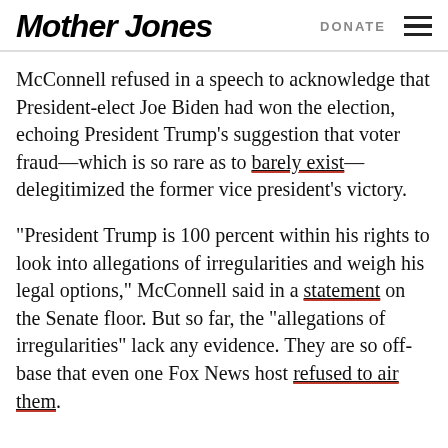Mother Jones | DONATE
McConnell refused in a speech to acknowledge that President-elect Joe Biden had won the election, echoing President Trump’s suggestion that voter fraud—which is so rare as to barely exist—delegitimized the former vice president’s victory.
“President Trump is 100 percent within his rights to look into allegations of irregularities and weigh his legal options,” McConnell said in a statement on the Senate floor. But so far, the “allegations of irregularities” lack any evidence. They are so off-base that even one Fox News host refused to air them.